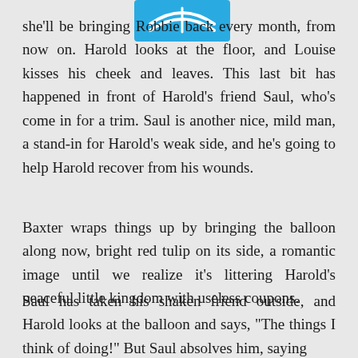[Figure (logo): Blue open book logo/icon at the top center of the page]
she’ll be bringing Robbie back every month, from now on. Harold looks at the floor, and Louise kisses his cheek and leaves. This last bit has happened in front of Harold’s friend Saul, who’s come in for a trim. Saul is another nice, mild man, a stand-in for Harold’s weak side, and he’s going to help Harold recover from his wounds.
Baxter wraps things up by bringing the balloon along now, bright red tulip on its side, a romantic image until we realize it’s littering Harold’s peaceful little kingdom with useless coupons.
Saul has taken his shaken friend outside, and Harold looks at the balloon and says, “The things I think of doing!” But Saul absolves him, saying